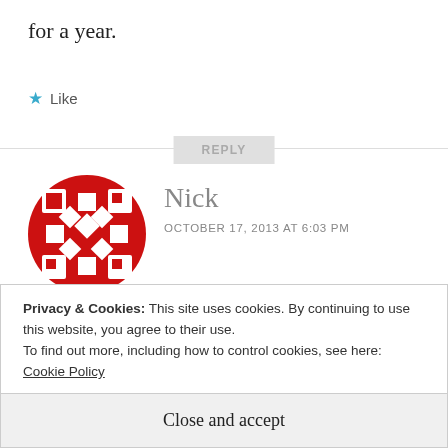for a year.
★ Like
REPLY
Nick
OCTOBER 17, 2013 AT 6:03 PM
I have only had instant ramen noodles. We do have a Santouka Ramen here in
Privacy & Cookies: This site uses cookies. By continuing to use this website, you agree to their use.
To find out more, including how to control cookies, see here: Cookie Policy
Close and accept